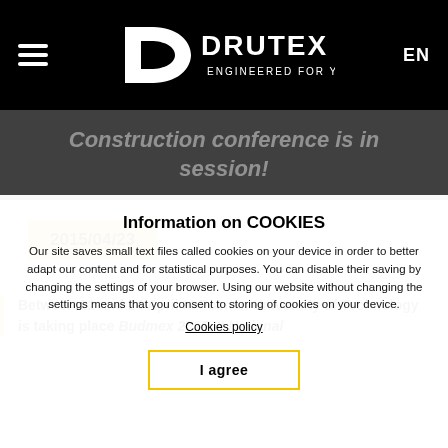DRUTEX ENGINEERED FOR YOU — EN
Construction conference is in session!
2015/04/23
Between 22 and 24 April at Poznan University of Technology is taking place Budmex 2015. II National... partner of this uniqu...
Information on COOKIES
Our site saves small text files called cookies on your device in order to better adapt our content and for statistical purposes. You can disable their saving by changing the settings of your browser. Using our website without changing the settings means that you consent to storing of cookies on your device.
Cookies policy
I agree